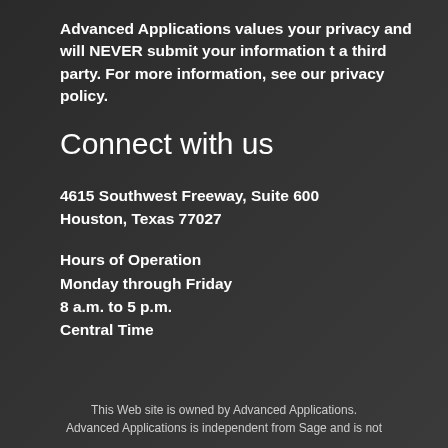Advanced Applications values your privacy and will NEVER submit your information t a third party. For more information, see our privacy policy.
Connect with us
4615 Southwest Freeway, Suite 600
Houston, Texas 77027
Hours of Operation
Monday through Friday
8 a.m. to 5 p.m.
Central Time
This Web site is owned by Advanced Applications. Advanced Applications is independent from Sage and is not